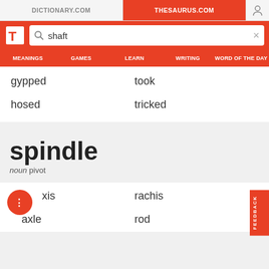DICTIONARY.COM | THESAURUS.COM
shaft
MEANINGS  GAMES  LEARN  WRITING  WORD OF THE DAY
gypped
took
hosed
tricked
spindle
noun pivot
xis
rachis
axle
rod